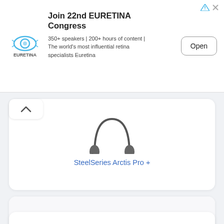[Figure (screenshot): Ad banner for EURETINA Congress with logo, title, description text, and Open button]
[Figure (screenshot): Partial view of headphones product image (SteelSeries Arctis Pro +) at top of card]
SteelSeries Arctis Pro +
ASTRO Gaming A50 Wireless